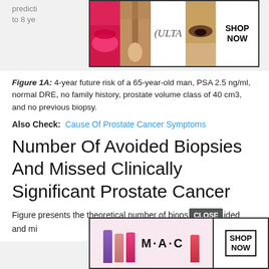predictions are validated with additional follow-up data up to 8 ye...
[Figure (photo): Ulta Beauty advertisement banner showing makeup imagery with SHOP NOW button]
Figure 1A: 4-year future risk of a 65-year-old man, PSA 2.5 ng/ml, normal DRE, no family history, prostate volume class of 40 cm3, and no previous biopsy.
Also Check: Cause Of Prostate Cancer Symptoms
Number Of Avoided Biopsies And Missed Clinically Significant Prostate Cancer
Figure presents the theoretical number of biopsies avoided and missed...
[Figure (photo): MAC Cosmetics advertisement banner showing lipsticks with SHOP NOW button]